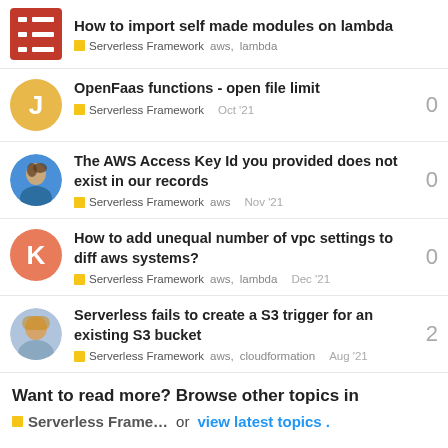How to import self made modules on lambda — Serverless Framework, aws, lambda
OpenFaas functions - open file limit | Serverless Framework | Oct '21 | replies: 0
The AWS Access Key Id you provided does not exist in our records | Serverless Framework | aws | Nov '21 | replies: 0
How to add unequal number of vpc settings to diff aws systems? | Serverless Framework | aws, lambda | Dec '21 | replies: 0
Serverless fails to create a S3 trigger for an existing S3 bucket | Serverless Framework | aws, cloudformation | Aug '21 | replies: 2
Want to read more? Browse other topics in Serverless Frame... or view latest topics.